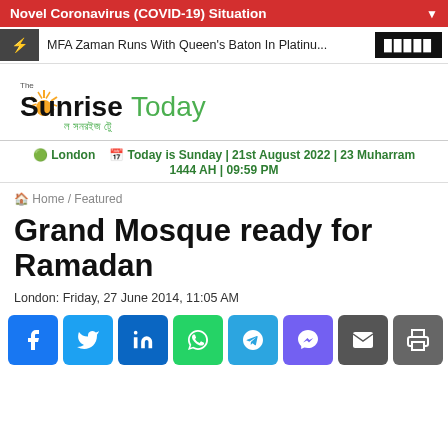Novel Coronavirus (COVID-19) Situation
MFA Zaman Runs With Queen's Baton In Platinu...
[Figure (logo): The Sunrise Today newspaper logo with sun graphic and Bengali subtitle]
London  Today is Sunday | 21st August 2022 | 23 Muharram 1444 AH | 09:59 PM
Home / Featured
Grand Mosque ready for Ramadan
London: Friday, 27 June 2014, 11:05 AM
[Figure (infographic): Social media share buttons: Facebook, Twitter, LinkedIn, WhatsApp, Telegram, Viber, Email, Print, and scroll-to-top button]